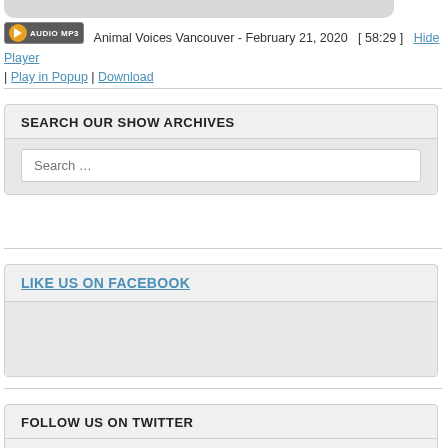Animal Voices Vancouver - February 21, 2020  [ 58:29 ]  Hide Player | Play in Popup | Download
SEARCH OUR SHOW ARCHIVES
Search …
LIKE US ON FACEBOOK
FOLLOW US ON TWITTER